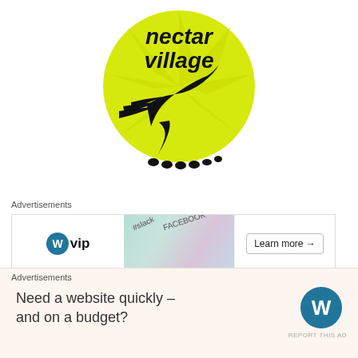[Figure (logo): Nectar Village logo: yellow circle with sun rays, hummingbird silhouette in black, text 'nectar village' in handwritten style]
Advertisements
[Figure (screenshot): Advertisement banner for WordPress VIP showing WP VIP logo, Slack and Facebook card icons, and a 'Learn more →' button]
REPORT THIS AD
A post-Burn DPW crew member 'FireDust' was asked for comment as she stumbled out of Bruno's Country Club in
Advertisements
[Figure (screenshot): Advertisement banner with peach background: 'Need a website quickly – and on a budget?' with WordPress logo]
REPORT THIS AD